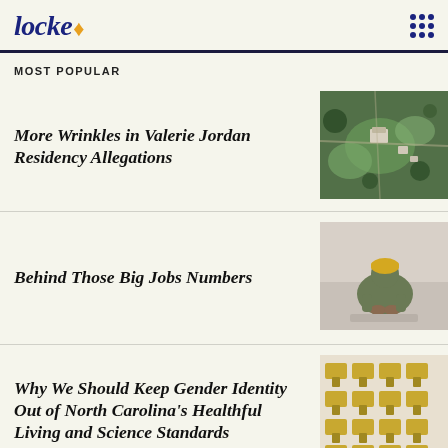locke
MOST POPULAR
More Wrinkles in Valerie Jordan Residency Allegations
[Figure (photo): Aerial satellite view of a rural property with a house, green fields, and surrounding trees]
Behind Those Big Jobs Numbers
[Figure (photo): Person wearing a yellow beanie and green jacket, hunched over with head down, sitting on a surface]
Why We Should Keep Gender Identity Out of North Carolina's Healthful Living and Science Standards
[Figure (photo): Rows of empty yellow school desks/chairs in a classroom]